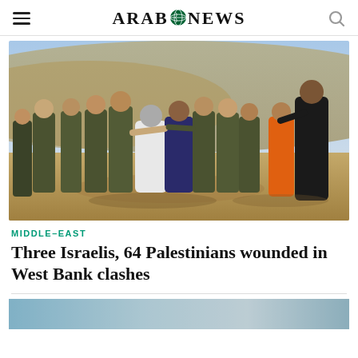ARAB NEWS
[Figure (photo): Israeli soldiers in military uniforms clashing with Palestinians in a dusty, arid landscape. Several soldiers surround civilians, with mountains visible in the background.]
MIDDLE-EAST
Three Israelis, 64 Palestinians wounded in West Bank clashes
[Figure (photo): Partial view of a second photo, mostly blue-grey tones, cut off at bottom of page.]